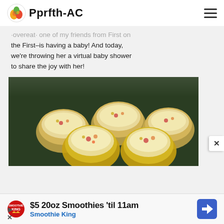Pprfth-AC
...overeat one of my friends from First on the First–is having a baby! And today, we're throwing her a virtual baby shower to share the joy with her!
[Figure (photo): Close-up photo of mini quiche or egg cups in pastry shells with colorful fillings, on a dark green background]
[Figure (infographic): Advertisement banner: $5 20oz Smoothies 'til 11am - Smoothie King, with Smoothie King logo and navigation arrow icon]